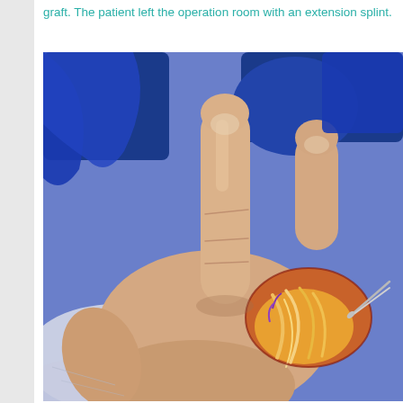graft. The patient left the operation room with an extension splint.
[Figure (photo): Intraoperative photograph showing a hand with a surgical wound on the palm/finger area. The wound appears to expose tendons and tissue. A surgical instrument (forceps or clamp) is visible holding tissue. The middle finger is extended upward. The hand is resting on a surgical drape. A blue surgical glove is visible in the background.]